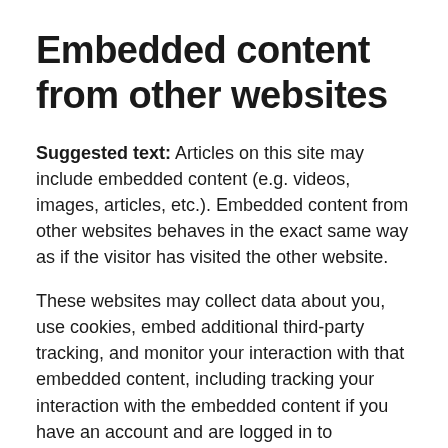Embedded content from other websites
Suggested text: Articles on this site may include embedded content (e.g. videos, images, articles, etc.). Embedded content from other websites behaves in the exact same way as if the visitor has visited the other website.
These websites may collect data about you, use cookies, embed additional third-party tracking, and monitor your interaction with that embedded content, including tracking your interaction with the embedded content if you have an account and are logged in to